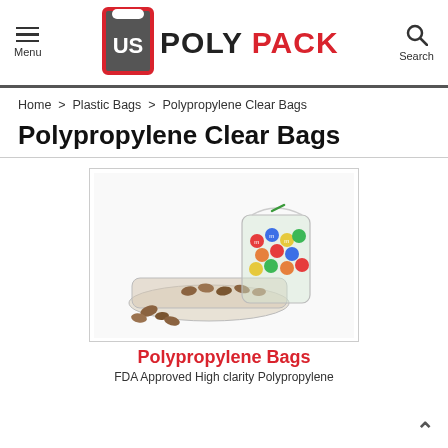Menu | US POLY PACK | Search
Home > Plastic Bags > Polypropylene Clear Bags
Polypropylene Clear Bags
[Figure (photo): Two clear polypropylene bags — one upright filled with colorful M&M candies tied with a green twist tie, and one lying flat filled with almonds with some spilling out.]
Polypropylene Bags
FDA Approved High clarity Polypropylene